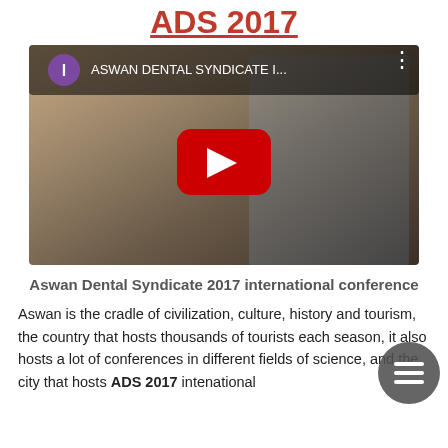ADS 2017
[Figure (screenshot): YouTube video thumbnail showing 'ASWAN DENTAL SYNDICATE I...' with two people visible and a red YouTube play button in the center]
Aswan Dental Syndicate 2017 international conference
Aswan is the cradle of civilization, culture, history and tourism, the country that hosts thousands of tourists each season, it also hosts a lot of conferences in different fields of science, and the city that hosts ADS 2017 intenational